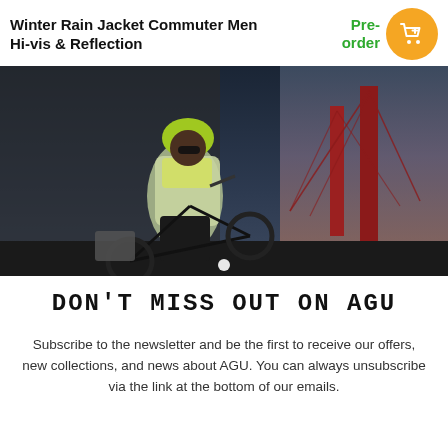Winter Rain Jacket Commuter Men Hi-vis & Reflection
[Figure (photo): A male cyclist wearing a hi-vis reflective winter rain jacket, green helmet, and black pants, riding a black bicycle at dusk near a red suspension bridge.]
DON'T MISS OUT ON AGU
Subscribe to the newsletter and be the first to receive our offers, new collections, and news about AGU. You can always unsubscribe via the link at the bottom of our emails.